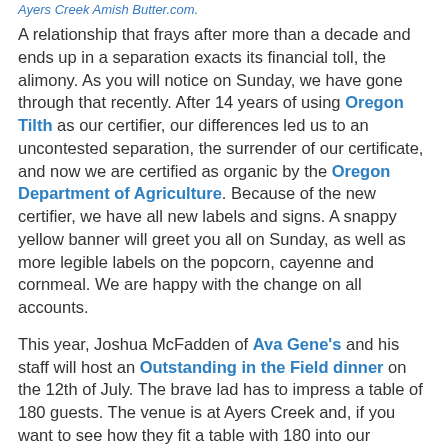Ayers Creek Amish Butter.com.
A relationship that frays after more than a decade and ends up in a separation exacts its financial toll, the alimony. As you will notice on Sunday, we have gone through that recently. After 14 years of using Oregon Tilth as our certifier, our differences led us to an uncontested separation, the surrender of our certificate, and now we are certified as organic by the Oregon Department of Agriculture. Because of the new certifier, we have all new labels and signs. A snappy yellow banner will greet you all on Sunday, as well as more legible labels on the popcorn, cayenne and cornmeal. We are happy with the change on all accounts.
This year, Joshua McFadden of Ava Gene's and his staff will host an Outstanding in the Field dinner on the 12th of July. The brave lad has to impress a table of 180 guests. The venue is at Ayers Creek and, if you want to see how they fit a table with 180 into our landscape, there may be some tickets still available. Like most of the chefs we work with, Joshua and his staff know the farm on the ground, not just as a delivery service. He has taken the time to understand the